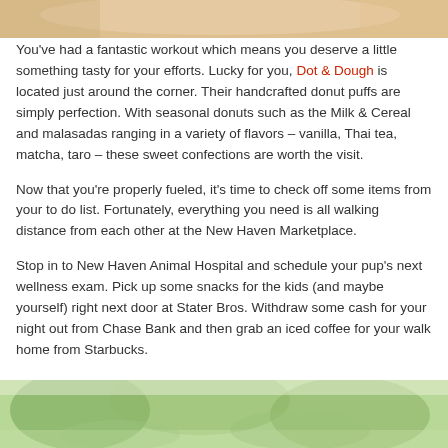[Figure (photo): Top portion of a photo, partially cropped, appearing to show food or a colorful subject]
You've had a fantastic workout which means you deserve a little something tasty for your efforts. Lucky for you, Dot & Dough is located just around the corner. Their handcrafted donut puffs are simply perfection. With seasonal donuts such as the Milk & Cereal and malasadas ranging in a variety of flavors – vanilla, Thai tea, matcha, taro – these sweet confections are worth the visit.
Now that you're properly fueled, it's time to check off some items from your to do list. Fortunately, everything you need is all walking distance from each other at the New Haven Marketplace.
Stop in to New Haven Animal Hospital and schedule your pup's next wellness exam. Pick up some snacks for the kids (and maybe yourself) right next door at Stater Bros. Withdraw some cash for your night out from Chase Bank and then grab an iced coffee for your walk home from Starbucks.
[Figure (photo): Bottom portion of a photo showing trees with green foliage against a light background]